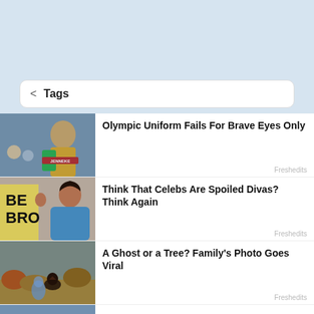< Tags
Olympic Uniform Fails For Brave Eyes Only
Freshedits
Think That Celebs Are Spoiled Divas? Think Again
Freshedits
A Ghost or a Tree? Family's Photo Goes Viral
Freshedits